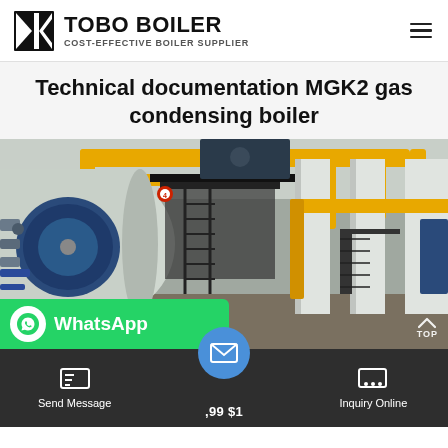TOBO BOILER — COST-EFFECTIVE BOILER SUPPLIER
Technical documentation MGK2 gas condensing boiler
[Figure (photo): Industrial boiler room with a large blue horizontal boiler drum on the left, black metal staircase/platform in the center, and yellow gas supply pipes running along the ceiling and walls. Multiple white rectangular columns visible on the right side.]
WhatsApp
Send Message
Inquiry Online